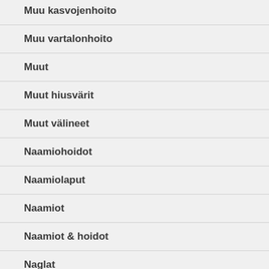Muu kasvojenhoito
Muu vartalonhoito
Muut
Muut hiusvärit
Muut välineet
Naamiohoidot
Naamiolaput
Naamiot
Naamiot & hoidot
Naglat